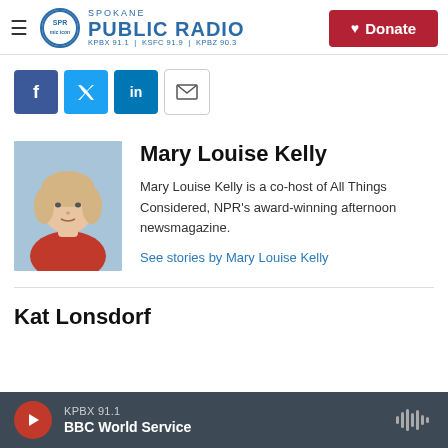Spokane Public Radio — KPBX 91.1 | KSFC 91.9 | KPBZ 90.3 — Donate
[Figure (infographic): Social media share icons: Facebook (blue), Twitter (blue), LinkedIn (blue), Email (outlined)]
[Figure (photo): Portrait photo of Mary Louise Kelly, a blonde woman wearing a red sleeveless top, photographed against a blurred blue background]
Mary Louise Kelly
Mary Louise Kelly is a co-host of All Things Considered, NPR's award-winning afternoon newsmagazine.
See stories by Mary Louise Kelly
Kat Lonsdorf
KPBX 91.1 BBC World Service